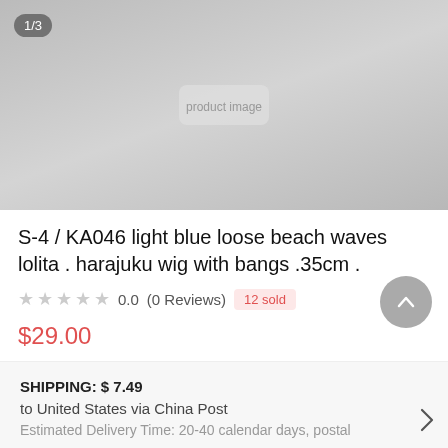[Figure (photo): Product image of a light blue lolita harajuku wig, showing a person wearing the wig, image carousel with 1/3 indicator badge]
S-4 / KA046 light blue loose beach waves lolita . harajuku wig with bangs .35cm .
0.0  (0 Reviews)  12 sold
$29.00
QUANTITY
1
SHIPPING: $ 7.49
to United States via China Post
Estimated Delivery Time: 20-40 calendar days, postal